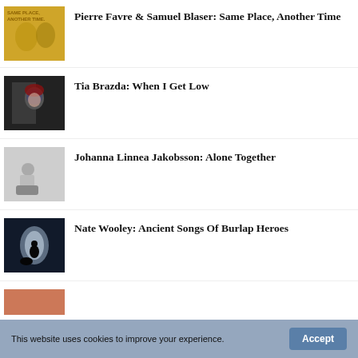Pierre Favre & Samuel Blaser: Same Place, Another Time
Tia Brazda: When I Get Low
Johanna Linnea Jakobsson: Alone Together
Nate Wooley: Ancient Songs Of Burlap Heroes
This website uses cookies to improve your experience.